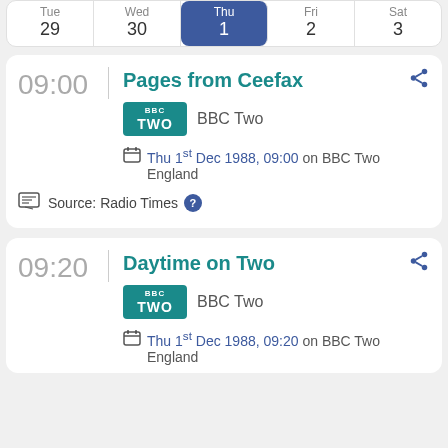| Tue 29 | Wed 30 | Thu 1 | Fri 2 | Sat 3 |
| --- | --- | --- | --- | --- |
Pages from Ceefax
BBC Two
Thu 1st Dec 1988, 09:00 on BBC Two England
Source: Radio Times
Daytime on Two
BBC Two
Thu 1st Dec 1988, 09:20 on BBC Two England